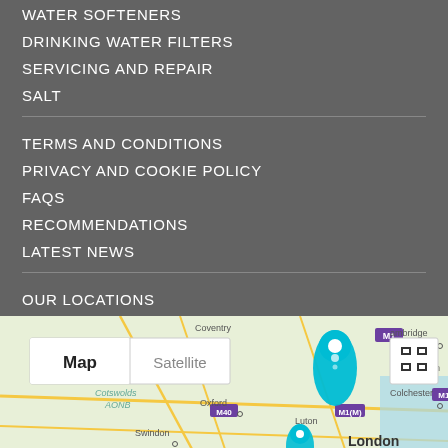WATER SOFTENERS
DRINKING WATER FILTERS
SERVICING AND REPAIR
SALT
TERMS AND CONDITIONS
PRIVACY AND COOKIE POLICY
FAQS
RECOMMENDATIONS
LATEST NEWS
OUR LOCATIONS
[Figure (map): Google Map showing locations in central England including Coventry, Cambridge, Oxford, Luton, London, Bristol, Swindon, Ipswich, Colchester areas with cyan location pin markers and Map/Satellite toggle controls]